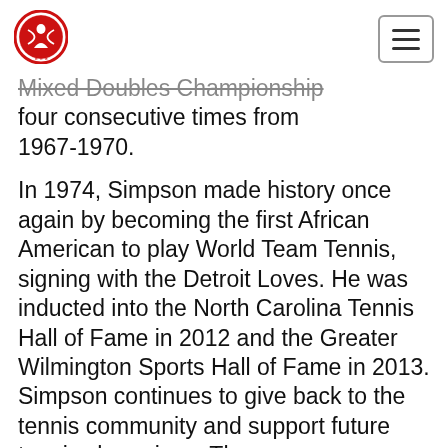[Logo: State Tennis Hall of Fame] [Hamburger menu button]
Mixed Doubles Championship four consecutive times from 1967-1970.
In 1974, Simpson made history once again by becoming the first African American to play World Team Tennis, signing with the Detroit Loves. He was inducted into the North Carolina Tennis Hall of Fame in 2012 and the Greater Wilmington Sports Hall of Fame in 2013. Simpson continues to give back to the tennis community and support future tennis champions. The